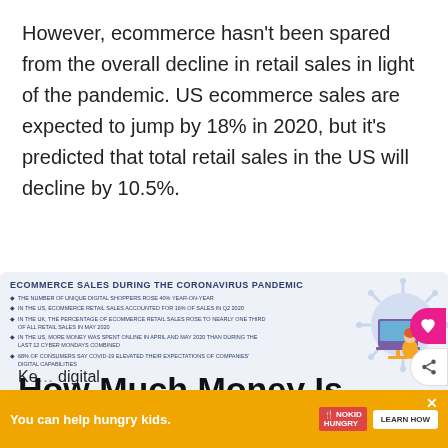However, ecommerce hasn't been spared from the overall decline in retail sales in light of the pandemic. US ecommerce sales are expected to jump by 18% in 2020, but it's predicted that total retail sales in the US will decline by 10.5%.
[Figure (infographic): Infographic titled 'Ecommerce Sales During the Coronavirus Pandemic' listing bullet points about digital shopping growth, with an illustration of a person at a computer and a coronavirus graphic. Below are brand logos (Nike, eBay, Amazon, Target, Walmart) with statistics about their digital sales growth.]
How Much Money Is Really Spent Online
Ke...digital
[Figure (infographic): Advertisement bar: 'You can help hungry kids.' No Kid Hungry logo. LEARN HOW button. Close X button.]